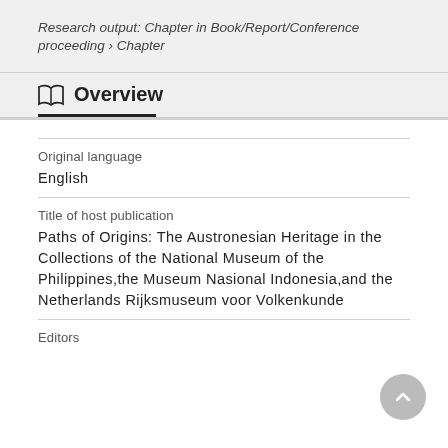Research output: Chapter in Book/Report/Conference proceeding › Chapter
Overview
Original language
English
Title of host publication
Paths of Origins: The Austronesian Heritage in the Collections of the National Museum of the Philippines, the Museum Nasional Indonesia, and the Netherlands Rijksmuseum voor Volkenkunde
Editors